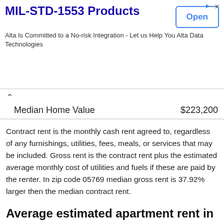[Figure (screenshot): Advertisement banner for MIL-STD-1553 Products by Alta Data Technologies with an Open button]
|  |  |
| --- | --- |
| Median Home Value | $223,200 |
Contract rent is the monthly cash rent agreed to, regardless of any furnishings, utilities, fees, meals, or services that may be included. Gross rent is the contract rent plus the estimated average monthly cost of utilities and fuels if these are paid by the renter. In zip code 05769 median gross rent is 37.92% larger then the median contract rent.
Average estimated apartment rent in ...
|  |  |
| --- | --- |
| Studio | $0 |
| 1 Bedroom | $0 |